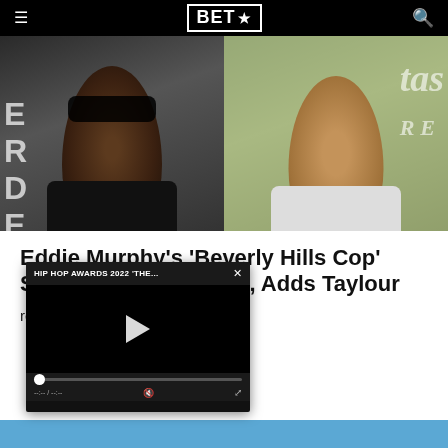BET★
[Figure (photo): Split photo: left shows Eddie Murphy in sunglasses and black turtleneck at an event; right shows Taylour Paige smiling at a green-background event with text 'tas' and 'RE' visible]
Eddie Murphy's 'Beverly Hills Cop' Sequel Gets New Title, Adds Taylour
rently in production.
[Figure (screenshot): Video player overlay titled 'HIP HOP AWARDS 2022 'THE...' with black screen, play button, progress bar with thumb, time display '--:-- / --:--', volume/mute icon, and fullscreen icon]